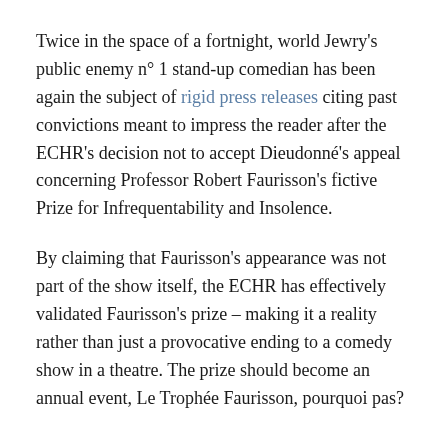Twice in the space of a fortnight, world Jewry's public enemy n° 1 stand-up comedian has been again the subject of rigid press releases citing past convictions meant to impress the reader after the ECHR's decision not to accept Dieudonné's appeal concerning Professor Robert Faurisson's fictive Prize for Infrequentability and Insolence.
By claiming that Faurisson's appearance was not part of the show itself, the ECHR has effectively validated Faurisson's prize – making it a reality rather than just a provocative ending to a comedy show in a theatre. The prize should become an annual event, Le Trophée Faurisson, pourquoi pas?